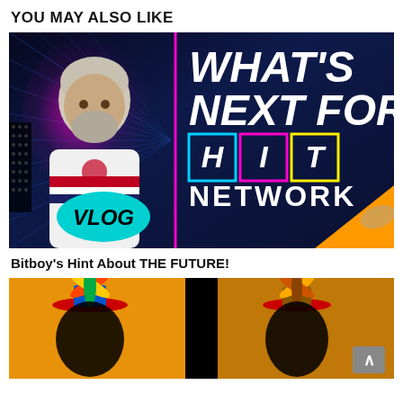YOU MAY ALSO LIKE
[Figure (screenshot): YouTube video thumbnail showing a man in a white striped shirt with a pink/magenta glow around him on the left, and bold italic white text on the right reading WHAT'S NEXT FOR with H I T NETWORK letters in colored boxes (cyan, magenta, yellow borders). A cyan VLOG badge is in the lower left. Background is dark blue with tunnel light effects. Orange triangle in bottom right corner.]
Bitboy's Hint About THE FUTURE!
[Figure (screenshot): Partially visible video thumbnail with black background showing cartoon characters with propeller hats on an orange background, with a dark silhouette figure in the center. A grey scroll-to-top button is visible in the bottom right corner.]